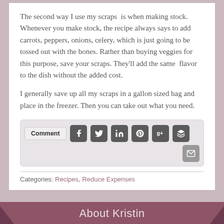The second way I use my scraps  is when making stock. Whenever you make stock, the recipe always says to add carrots, peppers, onions, celery, which is just going to be tossed out with the bones. Rather than buying veggies for this purpose, save your scraps. They'll add the same  flavor to the dish without the added cost.
I generally save up all my scraps in a gallon sized bag and place in the freezer. Then you can take out what you need.
Categories: Recipes, Reduce Expenses
About Kristin